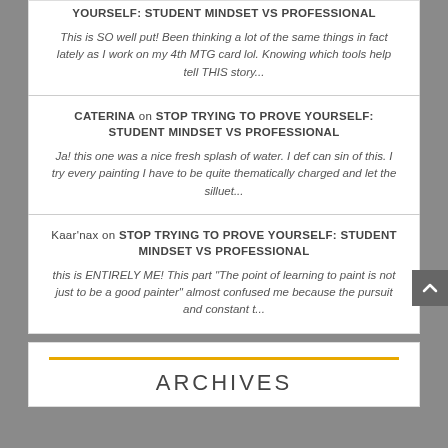YOURSELF: STUDENT MINDSET VS PROFESSIONAL
This is SO well put! Been thinking a lot of the same things in fact lately as I work on my 4th MTG card lol. Knowing which tools help tell THIS story...
CATERINA on STOP TRYING TO PROVE YOURSELF: STUDENT MINDSET VS PROFESSIONAL
Ja! this one was a nice fresh splash of water. I def can sin of this. I try every painting I have to be quite thematically charged and let the silluet...
Kaar'nax on STOP TRYING TO PROVE YOURSELF: STUDENT MINDSET VS PROFESSIONAL
this is ENTIRELY ME! This part "The point of learning to paint is not just to be a good painter" almost confused me because the pursuit and constant t...
ARCHIVES